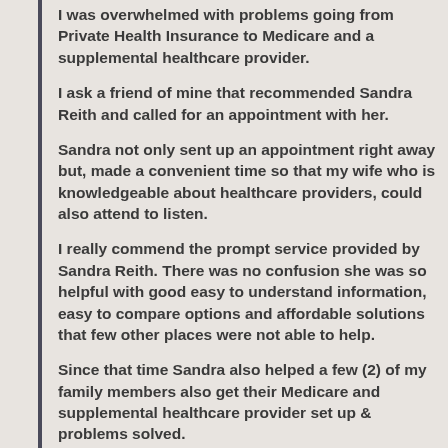I was overwhelmed with problems going from Private Health Insurance to Medicare and a supplemental healthcare provider.
I ask a friend of mine that recommended Sandra Reith and called for an appointment with her.
Sandra not only sent up an appointment right away but, made a convenient time so that my wife who is knowledgeable about healthcare providers, could also attend to listen.
I really commend the prompt service provided by Sandra Reith. There was no confusion she was so helpful with good easy to understand information, easy to compare options and affordable solutions that few other places were not able to help.
Since that time Sandra also helped a few (2) of my family members also get their Medicare and supplemental healthcare provider set up & problems solved.
I have called on Sandra for help with problems, she always has gone above and beyond my expectations and always helps solve them, even